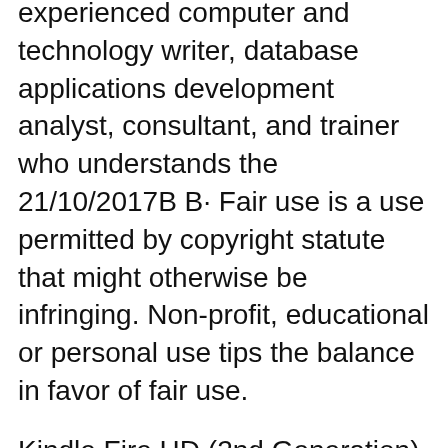experienced computer and technology writer, database applications development analyst, consultant, and trainer who understands the 21/10/2017B B· Fair use is a use permitted by copyright statute that might otherwise be infringing. Non-profit, educational or personal use tips the balance in favor of fair use.
Kindle Fire HD (2nd Generation) Kindle Fire HD (2nd Generation) Quick Start Guide (PDF) Kindle Fire (1st Generation) User's Guide (PDF) Kindle Fire (1st Generation) Quick Start Guide (PDF) Was this information helpful? Yes No Thank you for your feedback. Please select what best describes the